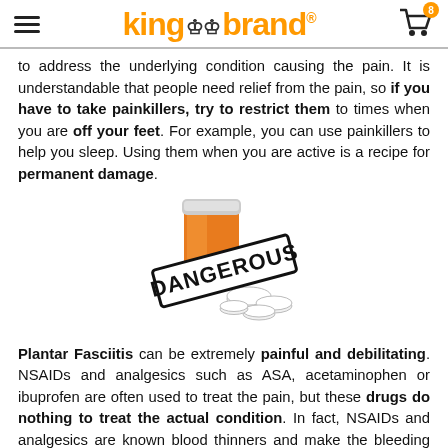King Brand (logo) - navigation header with cart (8 items)
to address the underlying condition causing the pain. It is understandable that people need relief from the pain, so if you have to take painkillers, try to restrict them to times when you are off your feet. For example, you can use painkillers to help you sleep. Using them when you are active is a recipe for permanent damage.
[Figure (illustration): An orange prescription pill bottle tipped over with white pills spilling out, overlaid with a stamp reading DANGEROUS in bold black letters.]
Plantar Fasciitis can be extremely painful and debilitating. NSAIDs and analgesics such as ASA, acetaminophen or ibuprofen are often used to treat the pain, but these drugs do nothing to treat the actual condition. In fact, NSAIDs and analgesics are known blood thinners and make the bleeding worse for fresh